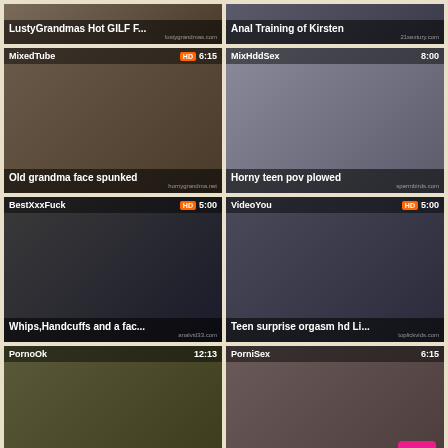[Figure (screenshot): Video thumbnail grid showing adult video thumbnails with titles, site names, duration badges]
LustyGrandmas Hot GILF F...
Anal Training of Kirsten
MixedTube | HD | 6:15 | Old grandma face spunked
MixHddSex | 8:00 | Horny teen pov plowed
BestXxxFuck | HD | 5:00 | Whips,Handcuffs and a fac...
VideoYou | HD | 5:00 | Teen surprise orgasm hd Li...
PornoOk | 12:13 | Amateur teen girlfriend cu...
PorniSex | 6:15 | Asian hottie pov gagging
ZexPorn | 3:00
ZexPorn | HD | 9:37